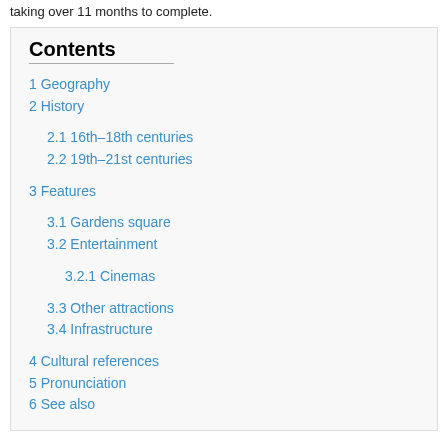taking over 11 months to complete.
Contents
1 Geography
2 History
2.1 16th–18th centuries
2.2 19th–21st centuries
3 Features
3.1 Gardens square
3.2 Entertainment
3.2.1 Cinemas
3.3 Other attractions
3.4 Infrastructure
4 Cultural references
5 Pronunciation
6 See also